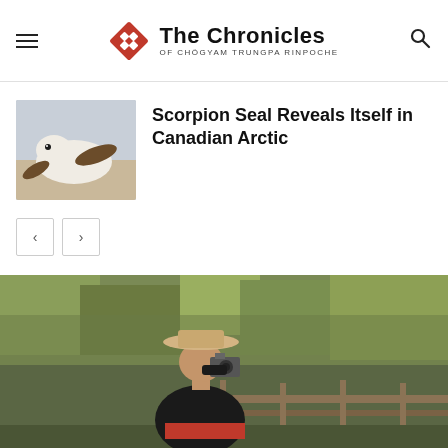The Chronicles of Chögyam Trungpa Rinpoche
[Figure (photo): White baby seal on beach]
Scorpion Seal Reveals Itself in Canadian Arctic
[Figure (photo): Person in cowboy hat looking through a camera, wearing black shirt and red sash, outdoors with green foliage behind]